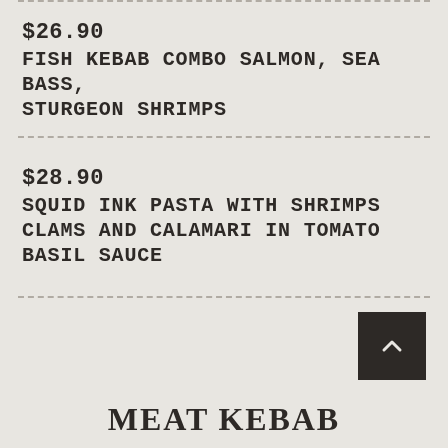$26.90
FISH KEBAB COMBO SALMON, SEA BASS, STURGEON SHRIMPS
$28.90
SQUID INK PASTA WITH SHRIMPS CLAMS AND CALAMARI IN TOMATO BASIL SAUCE
MEAT KEBAB